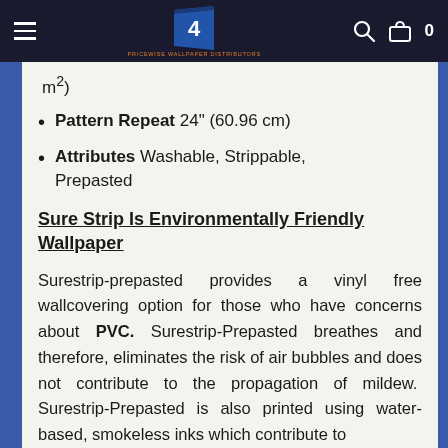Navigation header with logo, hamburger menu, search icon, cart icon showing 0
m²)
Pattern Repeat  24" (60.96 cm)
Attributes  Washable, Strippable, Prepasted
Sure Strip Is Environmentally Friendly Wallpaper
Surestrip-prepasted provides a vinyl free wallcovering option for those who have concerns about PVC. Surestrip-Prepasted breathes and therefore, eliminates the risk of air bubbles and does not contribute to the propagation of mildew.  Surestrip-Prepasted is also printed using water-based, smokeless inks which contribute to